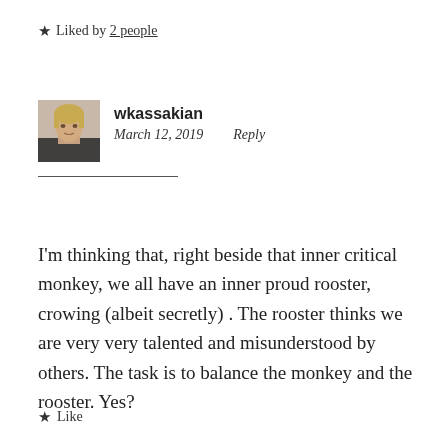★ Liked by 2 people
[Figure (photo): Profile photo of wkassakian, a woman with short blonde hair wearing a dark jacket]
wkassakian
March 12, 2019    Reply
I'm thinking that, right beside that inner critical monkey, we all have an inner proud rooster, crowing (albeit secretly) . The rooster thinks we are very very talented and misunderstood by others. The task is to balance the monkey and the rooster. Yes?
★ Like